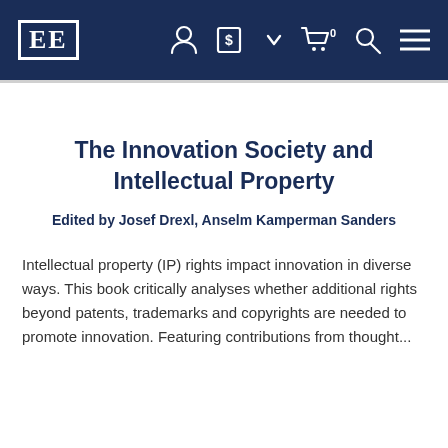EE [logo with navigation icons: user, currency, cart 0, search, menu]
The Innovation Society and Intellectual Property
Edited by Josef Drexl, Anselm Kamperman Sanders
Intellectual property (IP) rights impact innovation in diverse ways. This book critically analyses whether additional rights beyond patents, trademarks and copyrights are needed to promote innovation. Featuring contributions from thought...